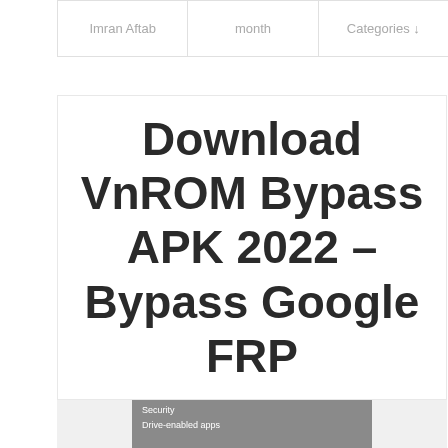| Imran Aftab | month | Categories ↓ |
| --- | --- | --- |
Download VnROM Bypass APK 2022 – Bypass Google FRP
[Figure (screenshot): Partial screenshot of a mobile device security settings screen showing 'Security' and 'Drive-enabled apps' options]